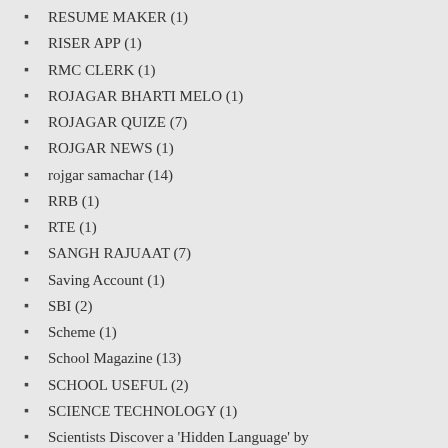RESUME MAKER (1)
RISER APP (1)
RMC CLERK (1)
ROJAGAR BHARTI MELO (1)
ROJAGAR QUIZE (7)
ROJGAR NEWS (1)
rojgar samachar (14)
RRB (1)
RTE (1)
SANGH RAJUAAT (7)
Saving Account (1)
SBI (2)
Scheme (1)
School Magazine (13)
SCHOOL USEFUL (2)
SCIENCE TECHNOLOGY (1)
Scientists Discover a 'Hidden Language' by